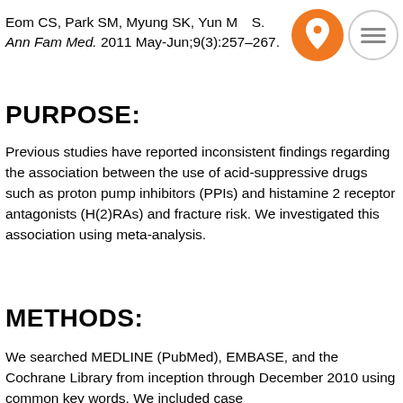Eom CS, Park SM, Myung SK, Yun MS. Ann Fam Med. 2011 May-Jun;9(3):257–267.
PURPOSE:
Previous studies have reported inconsistent findings regarding the association between the use of acid-suppressive drugs such as proton pump inhibitors (PPIs) and histamine 2 receptor antagonists (H(2)RAs) and fracture risk. We investigated this association using meta-analysis.
METHODS:
We searched MEDLINE (PubMed), EMBASE, and the Cochrane Library from inception through December 2010 using common key words. We included case...